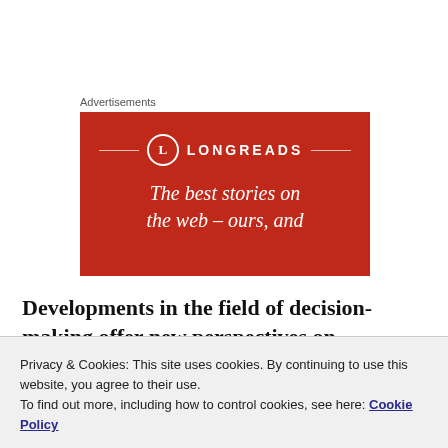Advertisements
[Figure (illustration): Longreads advertisement banner on red background with logo, decorative lines, and italic text: 'The best stories on the web – ours, and']
Developments in the field of decision-making offer new perspectives on understanding mental and neurological
Privacy & Cookies: This site uses cookies. By continuing to use this website, you agree to their use.
To find out more, including how to control cookies, see here: Cookie Policy
Close and accept